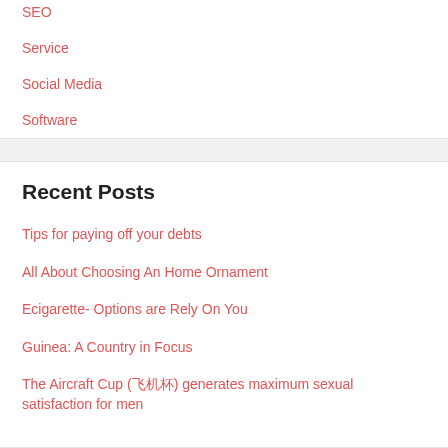SEO
Service
Social Media
Software
Recent Posts
Tips for paying off your debts
All About Choosing An Home Ornament
Ecigarette- Options are Rely On You
Guinea: A Country in Focus
The Aircraft Cup (飞机杯) generates maximum sexual satisfaction for men